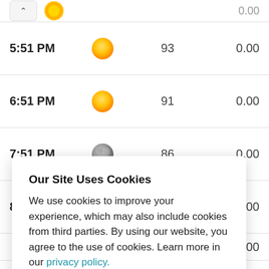| Time | Condition | Temp | Precip |
| --- | --- | --- | --- |
| 5:51 PM | sunny | 93 | 0.00 |
| 6:51 PM | sunny | 91 | 0.00 |
| 7:51 PM | cloudy night | 86 | 0.00 |
| 8:51 PM | cloudy night | 83 | 0.00 |
|  |  |  | 0.00 |
|  |  |  | 0.00 |
|  |  |  | 0.00 |
Our Site Uses Cookies
We use cookies to improve your experience, which may also include cookies from third parties. By using our website, you agree to the use of cookies. Learn more in our privacy policy.
ACCEPT & CLOSE